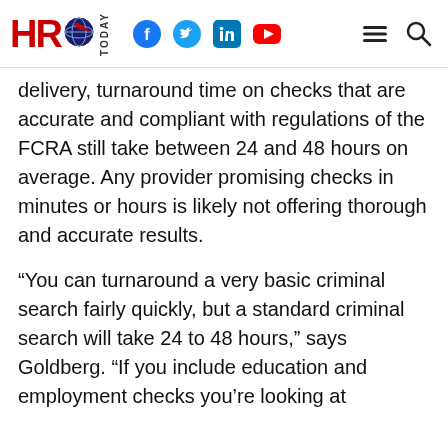HRO TODAY
delivery, turnaround time on checks that are accurate and compliant with regulations of the FCRA still take between 24 and 48 hours on average. Any provider promising checks in minutes or hours is likely not offering thorough and accurate results.
“You can turnaround a very basic criminal search fairly quickly, but a standard criminal search will take 24 to 48 hours,” says Goldberg. “If you include education and employment checks you’re looking at